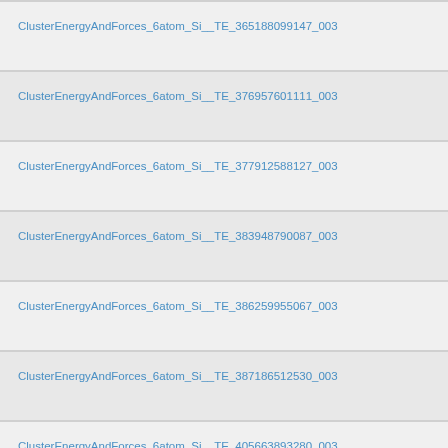ClusterEnergyAndForces_6atom_Si__TE_365188099147_003
ClusterEnergyAndForces_6atom_Si__TE_376957601111_003
ClusterEnergyAndForces_6atom_Si__TE_377912588127_003
ClusterEnergyAndForces_6atom_Si__TE_383948790087_003
ClusterEnergyAndForces_6atom_Si__TE_386259955067_003
ClusterEnergyAndForces_6atom_Si__TE_387186512530_003
ClusterEnergyAndForces_6atom_Si__TE_405663893280_003